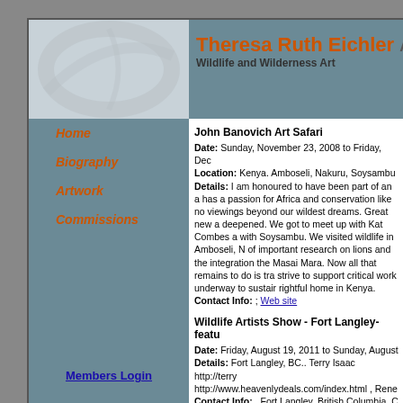Theresa Ruth Eichler AR
Wildlife and Wilderness Art
Home
Biography
Artwork
Commissions
Members Login
John Banovich Art Safari
Date: Sunday, November 23, 2008 to Friday, Dec
Location: Kenya. Amboseli, Nakuru, Soysambu
Details: I am honoured to have been part of an a has a passion for Africa and conservation like no viewings beyond our wildest dreams. Great new a deepened. We got to meet up with Kat Combes a with Soysambu. We visited wildlife in Amboseli, N of important research on lions and the integration the Masai Mara. Now all that remains to do is tra strive to support critical work underway to sustair rightful home in Kenya.
Contact Info: ; Web site
Wildlife Artists Show - Fort Langley- featu
Date: Friday, August 19, 2011 to Sunday, August
Details: Fort Langley, BC.. Terry Isaac http://terry http://www.heavenlydeals.com/index.html , Rene
Contact Info: , Fort Langley, British Columbia, C
Lake Country Artwalk